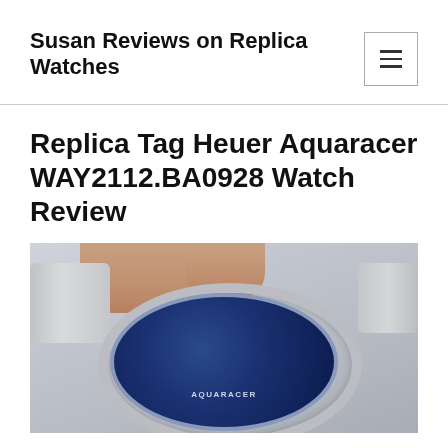Susan Reviews on Replica Watches
Replica Tag Heuer Aquaracer WAY2112.BA0928 Watch Review
[Figure (photo): Close-up photograph of a TAG Heuer Aquaracer replica watch with blue dial, steel bezel and bracelet, being held by a hand]